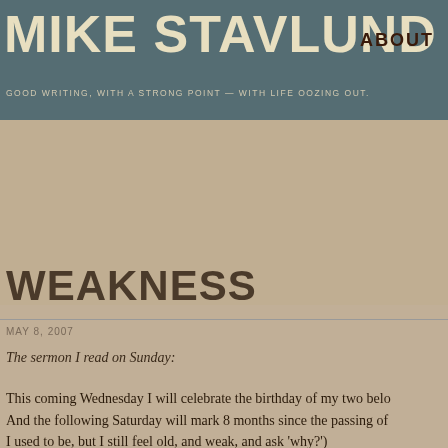MIKE STAVLUND
ABOUT
GOOD WRITING, WITH A STRONG POINT — WITH LIFE OOZING OUT.
WEAKNESS
MAY 8, 2007
The sermon I read on Sunday:
This coming Wednesday I will celebrate the birthday of my two belo... And the following Saturday will mark 8 months since the passing of... I used to be, but I still feel old, and weak, and ask 'why?')